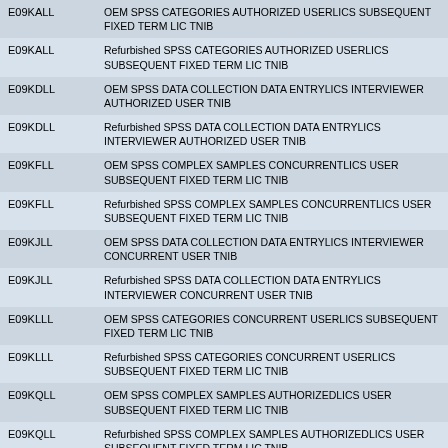| Code | Description |
| --- | --- |
| E09KALL | OEM SPSS CATEGORIES AUTHORIZED USERLICS SUBSEQUENT FIXED TERM LIC TNIB |
| E09KALL | Refurbished SPSS CATEGORIES AUTHORIZED USERLICS SUBSEQUENT FIXED TERM LIC TNIB |
| E09KDLL | OEM SPSS DATA COLLECTION DATA ENTRYLICS INTERVIEWER AUTHORIZED USER TNIB |
| E09KDLL | Refurbished SPSS DATA COLLECTION DATA ENTRYLICS INTERVIEWER AUTHORIZED USER TNIB |
| E09KFLL | OEM SPSS COMPLEX SAMPLES CONCURRENTLICS USER SUBSEQUENT FIXED TERM LIC TNIB |
| E09KFLL | Refurbished SPSS COMPLEX SAMPLES CONCURRENTLICS USER SUBSEQUENT FIXED TERM LIC TNIB |
| E09KJLL | OEM SPSS DATA COLLECTION DATA ENTRYLICS INTERVIEWER CONCURRENT USER TNIB |
| E09KJLL | Refurbished SPSS DATA COLLECTION DATA ENTRYLICS INTERVIEWER CONCURRENT USER TNIB |
| E09KLLL | OEM SPSS CATEGORIES CONCURRENT USERLICS SUBSEQUENT FIXED TERM LIC TNIB |
| E09KLLL | Refurbished SPSS CATEGORIES CONCURRENT USERLICS SUBSEQUENT FIXED TERM LIC TNIB |
| E09KQLL | OEM SPSS COMPLEX SAMPLES AUTHORIZEDLICS USER SUBSEQUENT FIXED TERM LIC TNIB |
| E09KQLL | Refurbished SPSS COMPLEX SAMPLES AUTHORIZEDLICS USER SUBSEQUENT FIXED TERM LIC TNIB |
| E09KZLL | OEM SPSS DATA COLLECTION DATA ENTRYLICS BUNDLE AUTHORIZED USER SUBSEQUENT TNIB |
| E09KZLL | Refurbished SPSS DATA COLLECTION DATA ENTRYLICS BUNDLE AUTHORIZED USER SUBSEQUENT TNIB |
| E09L2LL | OEM SPSS STATISTICS PREM AUTHORIZEDLICS USER SUBSEQUENT FIXED TNIB |
| E09L2LL | Refurbished SPSS STATISTICS PREM AUTHORIZEDLICS USER SUBSEQUENT FIXED TNIB |